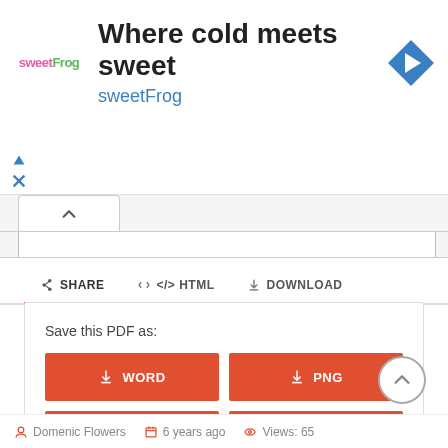[Figure (screenshot): Advertisement banner for sweetFrog frozen yogurt. Logo on left reads 'sweetFrog' in pink and green. Headline: 'Where cold meets sweet'. Subheadline: 'sweetFrog' in blue. Blue diamond navigation icon on top right. Play and close icons on left below logo.]
[Figure (screenshot): Collapsed accordion panel with an up-arrow tab, showing a white content area below a gray tab bar.]
SHARE   </> HTML   ⬇ DOWNLOAD
Save this PDF as:
⬇ WORD
⬇ PNG
⬇ TXT
⬇ JPG
Domenic Flowers   6 years ago   Views: 65